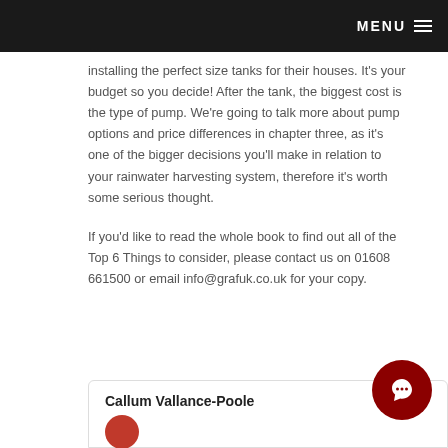MENU
installing the perfect size tanks for their houses. It's your budget so you decide! After the tank, the biggest cost is the type of pump. We're going to talk more about pump options and price differences in chapter three, as it's one of the bigger decisions you'll make in relation to your rainwater harvesting system, therefore it's worth some serious thought.
If you'd like to read the whole book to find out all of the Top 6 Things to consider, please contact us on 01608 661500 or email info@grafuk.co.uk for your copy.
Callum Vallance-Poole